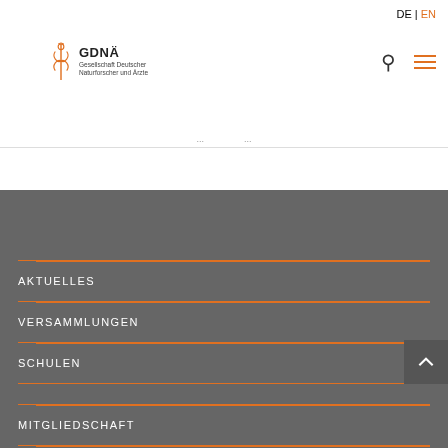DE | EN
[Figure (logo): GDNÄ logo with caduceus symbol and text 'GDNÄ Gesellschaft Deutscher Naturforscher und Ärzte']
AKTUELLES
VERSAMMLUNGEN
SCHULEN
MITGLIEDSCHAFT
PRESSE
PUBLIKATIONEN